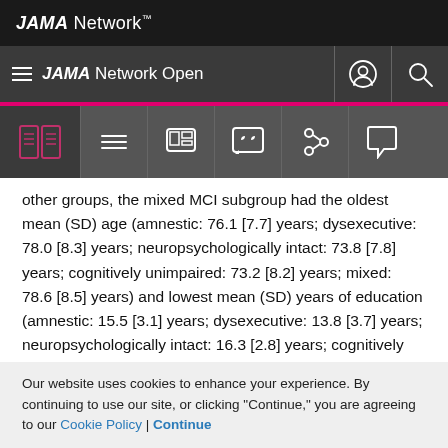JAMA Network
JAMA Network Open
other groups, the mixed MCI subgroup had the oldest mean (SD) age (amnestic: 76.1 [7.7] years; dysexecutive: 78.0 [8.3] years; neuropsychologically intact: 73.8 [7.8] years; cognitively unimpaired: 73.2 [8.2] years; mixed: 78.6 [8.5] years) and lowest mean (SD) years of education (amnestic: 15.5 [3.1] years; dysexecutive: 13.8 [3.7] years; neuropsychologically intact: 16.3 [2.8] years; cognitively unimpaired: 15.3 [3.3] years; mixed: 11.9 [4.6] years). Cox
Our website uses cookies to enhance your experience. By continuing to use our site, or clicking "Continue," you are agreeing to our Cookie Policy | Continue